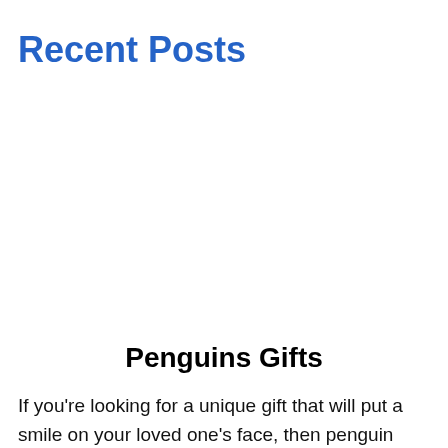Recent Posts
Penguins Gifts
If you're looking for a unique gift that will put a smile on your loved one's face, then penguin gifts are the perfect